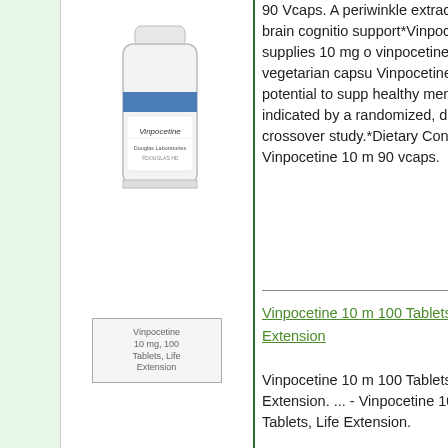[Figure (photo): Vinpocetine supplement bottle by Douglas Labs, white cylindrical bottle with blue stripe]
90 Vcaps. A periwinkle extract for brain cognition support*Vinpocetine supplies 10 mg of vinpocetine in a vegetarian capsule. Vinpocetine has the potential to support healthy memory, as indicated by a randomized, double-blind, crossover study.*Dietary Consider... - Vinpocetine 10 mg 90 vcaps.
[Figure (photo): Vinpocetine 10 mg, 100 Tablets, Life Extension product image]
Vinpocetine 10 mg, 100 Tablets, Life Extension
Vinpocetine 10 mg 100 Tablets, Life Extension. ... - Vinpocetine 10 mg 100 Tablets, Life Extension.